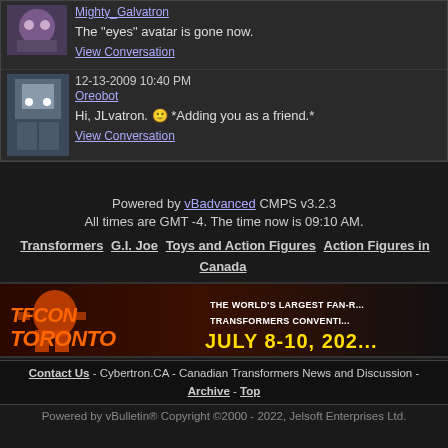Mighty_Galvatron
The "eyes" avatar is gone now.
View Conversation
12-13-2009 10:40 PM
Oreobot
Hi, JLvatron. 🙂 *Adding you as a friend.*
View Conversation
Powered by vBadvanced CMPS v3.2.3
All times are GMT -4. The time now is 09:10 AM.
Transformers  G.I. Joe  Toys and Action Figures  Action Figures in Canada  Thundercats
[Figure (screenshot): TFcon Toronto banner advertisement - The World's Largest Fan-Run Transformers Convention, July 8-10, 2022]
Contact Us - Cybertron.CA - Canadian Transformers News and Discussion - Archive - Top
Powered by vBulletin® Copyright ©2000 - 2022, Jelsoft Enterprises Ltd.